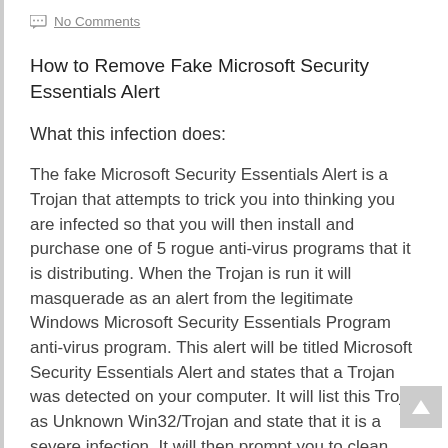No Comments
How to Remove Fake Microsoft Security Essentials Alert
What this infection does:
The fake Microsoft Security Essentials Alert is a Trojan that attempts to trick you into thinking you are infected so that you will then install and purchase one of 5 rogue anti-virus programs that it is distributing. When the Trojan is run it will masquerade as an alert from the legitimate Windows Microsoft Security Essentials Program anti-virus program. This alert will be titled Microsoft Security Essentials Alert and states that a Trojan was detected on your computer. It will list this Trojan as Unknown Win32/Trojan and state that it is a severe infection. It will then prompt you to clean your computer using the program in order to remove it. When you click on the Clean Computer or Apply actions button, it will state that it was unable to remove it and then prompt you to scan